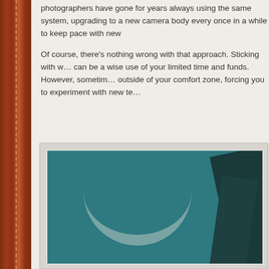photographers have gone for years always using the same system, upgrading to a new camera body every once in a while to keep pace with new technology.
Of course, there's nothing wrong with that approach. Sticking with what you know can be a wise use of your limited time and funds. However, sometimes life takes you outside of your comfort zone, forcing you to experiment with new techniques.
[Figure (photo): Close-up photograph of a camera or photographic equipment against a teal/dark teal background, with dark curved shapes visible on the right side suggesting lens or camera body elements.]